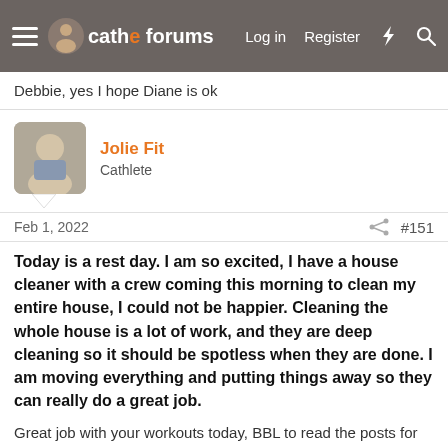cathe forums — Log in  Register
Debbie, yes I hope Diane is ok
Jolie Fit
Cathlete
Feb 1, 2022   #151
Today is a rest day. I am so excited, I have a house cleaner with a crew coming this morning to clean my entire house, I could not be happier. Cleaning the whole house is a lot of work, and they are deep cleaning so it should be spotless when they are done. I am moving everything and putting things away so they can really do a great job.
Great job with your workouts today, BBL to read the posts for the day.
RPAGE64@CHARTER.NET